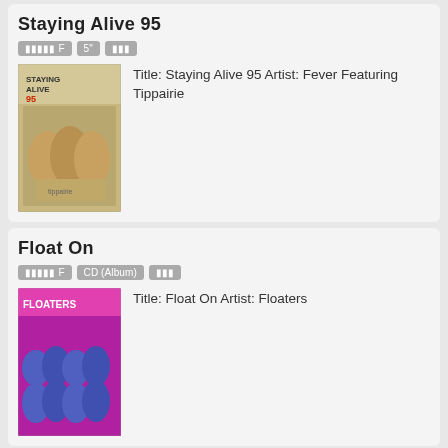Staying Alive 95
F | 5" | (tag)
Title: Staying Alive 95 Artist: Fever Featuring Tippairie
Float On
F | CD (Album) | (tag)
Title: Float On Artist: Floaters
The Boogie Train
F | CD (Album) | (tag)
Title: The Boogie Train Artist: The Funky Bureau